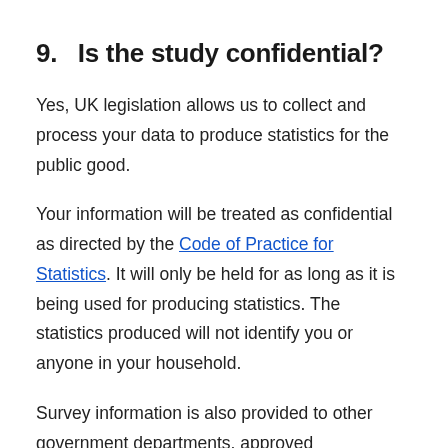9.  Is the study confidential?
Yes, UK legislation allows us to collect and process your data to produce statistics for the public good.
Your information will be treated as confidential as directed by the Code of Practice for Statistics. It will only be held for as long as it is being used for producing statistics. The statistics produced will not identify you or anyone in your household.
Survey information is also provided to other government departments, approved organisations and…